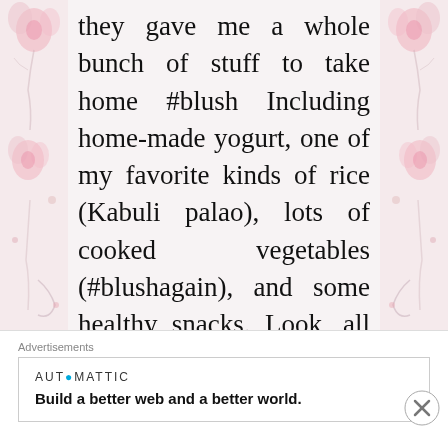they gave me a whole bunch of stuff to take home #blush Including home-made yogurt, one of my favorite kinds of rice (Kabuli palao), lots of cooked vegetables (#blushagain), and some healthy snacks. Look, all I'm saying is … I don't always get to eat real food, so it felt awesome doing so 😀 God reward them for their generosity!
Advertisements
Advertisements
[Figure (logo): AUTOMATTIC logo with blue circle O]
Build a better web and a better world.